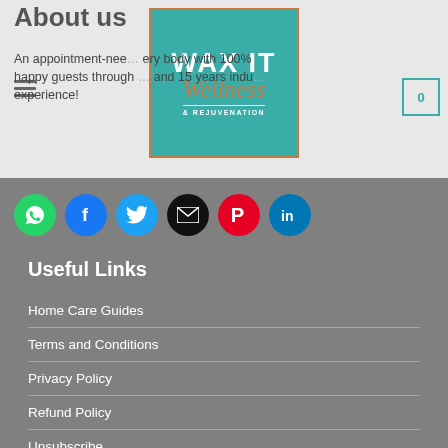Wax It Wellness & Rejuvenation logo with navigation
About us
An appointment-needed... every body with 100% happy guests through... and 15 years industry experience!
[Figure (infographic): Social media sharing icons: WhatsApp (green), Facebook (blue), Twitter (light blue), Email (black), Pinterest (red), LinkedIn (blue)]
Useful Links
Home Care Guides
Terms and Conditions
Privacy Policy
Refund Policy
Unsubscribe